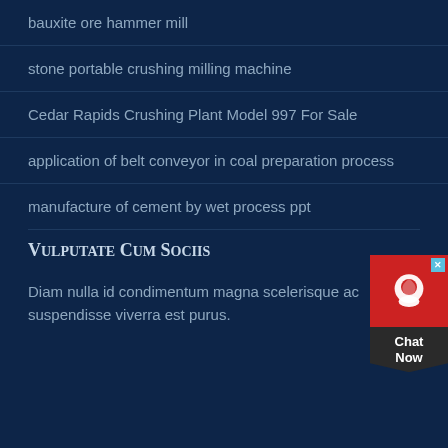bauxite ore hammer mill
stone portable crushing milling machine
Cedar Rapids Crushing Plant Model 997 For Sale
application of belt conveyor in coal preparation process
manufacture of cement by wet process ppt
Vulputate Cum Sociis
Diam nulla id condimentum magna scelerisque ac suspendisse viverra est purus.